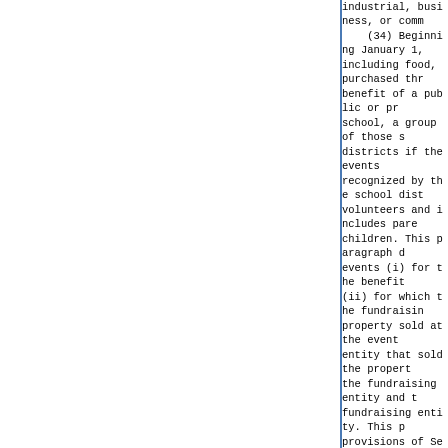industrial, business, or comm (34) Beginning January 1, including food, purchased thr benefit of a public or pr school, a group of those s districts if the events recognized by the school dist volunteers and includes pare children. This paragraph d events (i) for the benefit (ii) for which the fundraisin property sold at the event entity that sold the propert the fundraising entity and t fundraising entity. This p provisions of Section 2-70. (35) Beginning January 1, 31, 2001, new or used aut prepare and serve hot food a soup, and other items, and machines. Beginning January 2003, machines and parts fo coin-operated amusement and occupation tax is paid on t the use of the commercial, vending machines. This pa provisions of Section 2-70. (35-5) Beginning August 2 2016, food for human consumpt the premises where it is